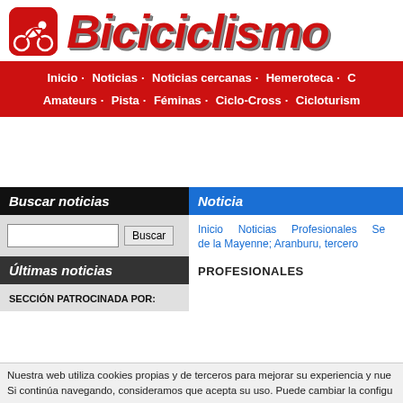[Figure (logo): Biciciclismo logo with red cyclist icon and red italic bold text 'Biciciclismo']
Inicio · Noticias · Noticias cercanas · Hemeroteca · Amateurs · Pista · Féminas · Ciclo-Cross · Cicloturism
Buscar noticias
Noticia
Inicio    Noticias    Profesionales    Se de la Mayenne; Aranburu, tercero
Últimas noticias
SECCIÓN PATROCINADA POR:
PROFESIONALES
Nuestra web utiliza cookies propias y de terceros para mejorar su experiencia y nue Si continúa navegando, consideramos que acepta su uso. Puede cambiar la configu